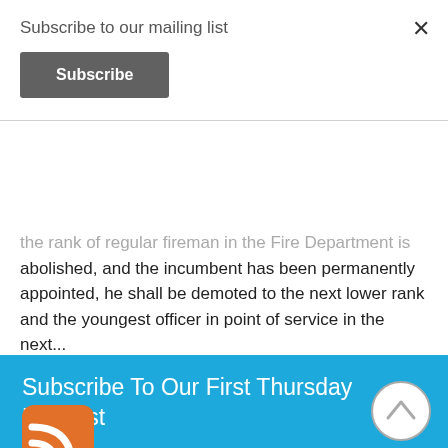Subscribe to our mailing list
Subscribe
the rank of regular fireman in the Fire Department is abolished, and the incumbent has been permanently appointed, he shall be demoted to the next lower rank and the youngest officer in point of service in the next...
Read More
Subscribe To Our First Thursday Podcast
[Figure (logo): Orange RSS feed icon]